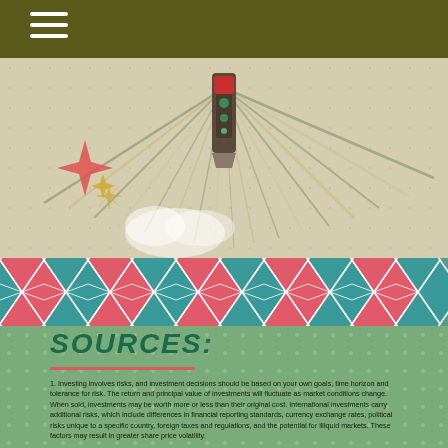[Figure (illustration): Retro mid-century modern decorative illustration featuring a stylized rocket or lamp shape with radiating lines/rays at top, star burst decorations, on a textured beige/cream background. Below the illustration is an argyle diamond pattern band in teal and salmon/pink colors.]
SOURCES:
1. Investing involves risks, and investment decisions should be based on your own goals, time horizon and tolerance for risk. The return and principal value of investments will fluctuate as market conditions change. When sold, investments may be worth more or less than their original cost. International investments carry additional risks, which include differences in financial reporting standards, currency exchange rates, political risks unique to a specific country, foreign taxes and regulations, and the potential for illiquid markets. These factors may result in greater share price volatility.
2. HealthViewServices.com, 2021
3. LongternCare.gov, 2020
4. Statista.com, 2021